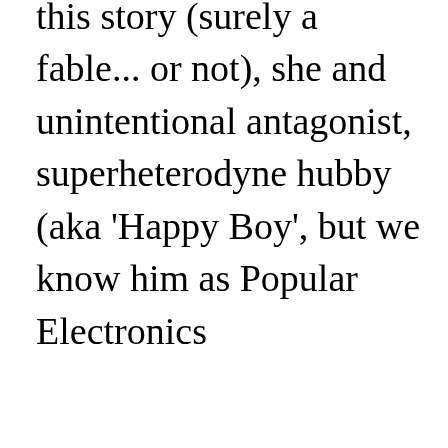this story (surely a fable... or not), she and unintentional antagonist, superheterodyne hubby (aka 'Happy Boy', but we know him as Popular Electronics